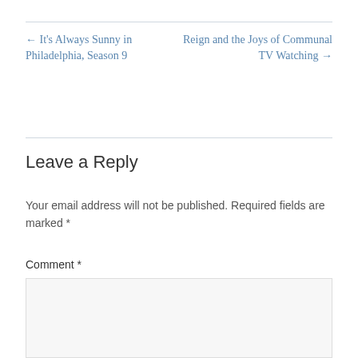← It's Always Sunny in Philadelphia, Season 9
Reign and the Joys of Communal TV Watching →
Leave a Reply
Your email address will not be published. Required fields are marked *
Comment *